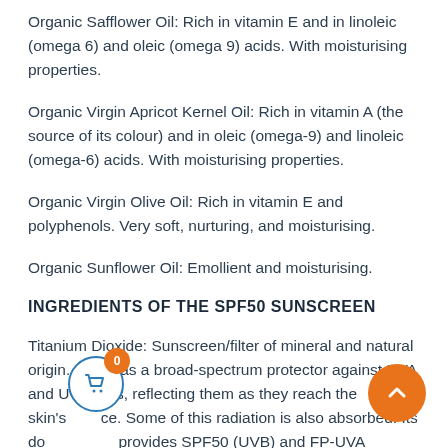Organic Safflower Oil: Rich in vitamin E and in linoleic (omega 6) and oleic (omega 9) acids. With moisturising properties.
Organic Virgin Apricot Kernel Oil: Rich in vitamin A (the source of its colour) and in oleic (omega-9) and linoleic (omega-6) acids. With moisturising properties.
Organic Virgin Olive Oil: Rich in vitamin E and polyphenols. Very soft, nurturing, and moisturising.
Organic Sunflower Oil: Emollient and moisturising.
INGREDIENTS OF THE SPF50 SUNSCREEN
Titanium Dioxide: Sunscreen/filter of mineral and natural origin. It acts as a broad-spectrum protector against UVA and UVB rays, reflecting them as they reach the skin's ce. Some of this radiation is also absorbed. Its do provides SPF50 (UVB) and FP-UVA protection in compliance with European, American, and Australian